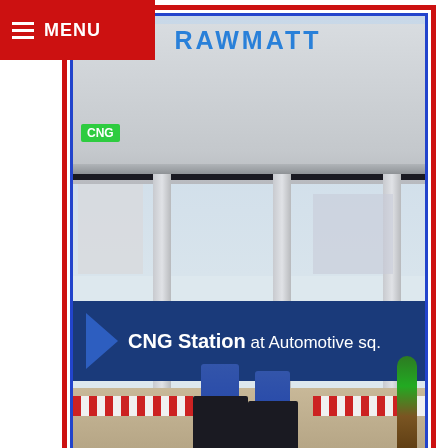MENU
[Figure (photo): RAWMATT CNG Station advertisement showing a CNG fuel station canopy with pumps, blue banner reading 'CNG Station at Automotive sq.' and contact details: 7499823856, 0712-2525833, info@rawmattindia.com, www.rawmatt.in]
ADVERTISEMENT
[Figure (photo): Second advertisement banner with Indian flag colors (orange, white, green) showing partial faces]
View store hours, get directions, or call your salon!